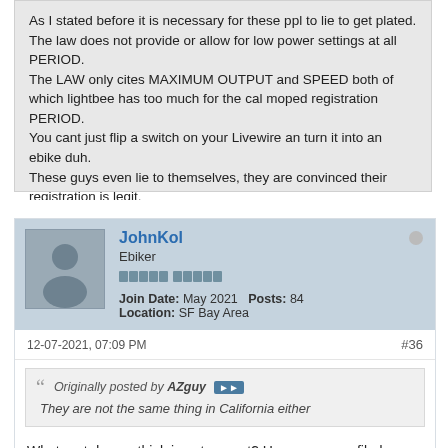As I stated before it is necessary for these ppl to lie to get plated. The law does not provide or allow for low power settings at all PERIOD. The LAW only cites MAXIMUM OUTPUT and SPEED both of which lightbee has too much for the cal moped registration PERIOD. You cant just flip a switch on your Livewire an turn it into an ebike duh. These guys even lie to themselves, they are convinced their registration is legit.
JohnKol
Ebiker
Join Date: May 2021   Posts: 84
Location: SF Bay Area
12-07-2021, 07:09 PM
#36
Originally posted by AZguy
They are not the same thing in California either
What part do you think is not correct? Have you ever filed a REG 230 application and failed to receive a license from the DMV?